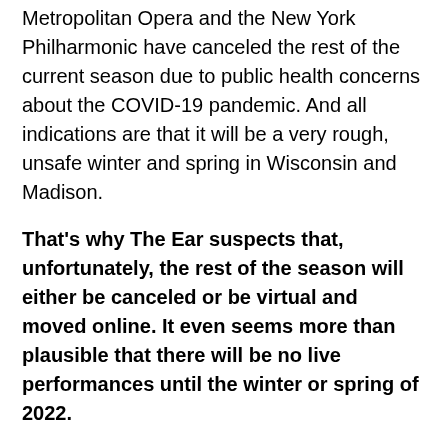Metropolitan Opera and the New York Philharmonic have canceled the rest of the current season due to public health concerns about the COVID-19 pandemic. And all indications are that it will be a very rough, unsafe winter and spring in Wisconsin and Madison.
That's why The Ear suspects that, unfortunately, the rest of the season will either be canceled or be virtual and moved online. It even seems more than plausible that there will be no live performances until the winter or spring of 2022.
So you can probably expect further word pretty soon of more cancellations, postponements and virtual online performances from the Madison Symphony Orchestra, the Madison Opera, the Wisconsin Chamber Orchestra, the Wisconsin Union Theater, the UW-Madison Mead Witter School of Music, the University Opera and others.